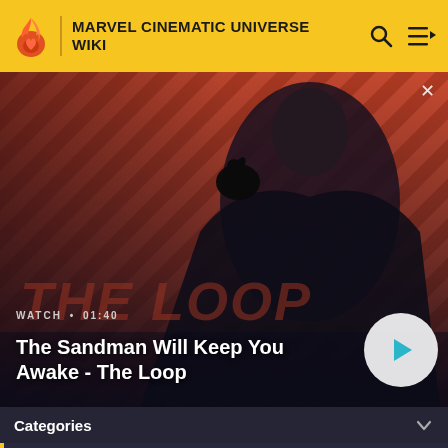MARVEL CINEMATIC UNIVERSE WIKI
[Figure (screenshot): Video banner showing The Sandman character in dark clothing with a raven on shoulder, red and black diagonal striped background. Shows video title 'The Sandman Will Keep You Awake - The Loop', runtime 01:40, and a play button.]
Categories
We advise caution when dealing with any recently-released media involving multiversal subjects. Please do not make assumptions regarding confusing wording, other sites' speculation, and people's headcanon around the internet.